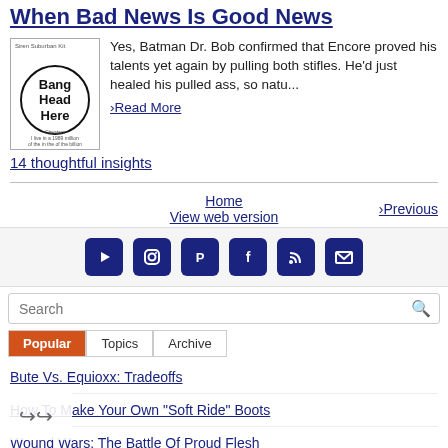When Bad News Is Good News
[Figure (illustration): Circular logo with text 'Bang Head Here' inside a circle, with small text above and below]
Yes, Batman Dr. Bob confirmed that Encore proved his talents yet again by pulling both stifles. He'd just healed his pulled ass, so natu...
›Read More
14 thoughtful insights
Home
View web version
›Previous
[Figure (infographic): Social media icons row: YouTube, Instagram, Pinterest, Facebook, RSS, Email]
Search
Popular | Topics | Archive
Bute Vs. Equioxx: Tradeoffs
How To Make Your Own "Soft Ride" Boots
Wound Wars: The Battle Of Proud Flesh
A Different Perspective On Mouthy Horses